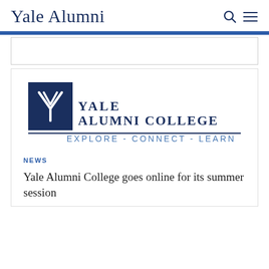Yale Alumni
[Figure (logo): Yale Alumni College logo with navy square containing stylized Y, text YALE ALUMNI COLLEGE, and tagline EXPLORE - CONNECT - LEARN]
NEWS
Yale Alumni College goes online for its summer session